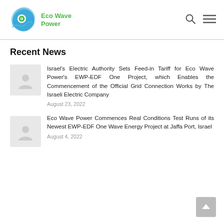Eco Wave Power
Recent News
Israel's Electric Authority Sets Feed-in Tariff for Eco Wave Power's EWP-EDF One Project, which Enables the Commencement of the Official Grid Connection Works by The Israeli Electric Company
August 23, 2022
Eco Wave Power Commences Real Conditions Test Runs of its Newest EWP-EDF One Wave Energy Project at Jaffa Port, Israel
August 4, 2022